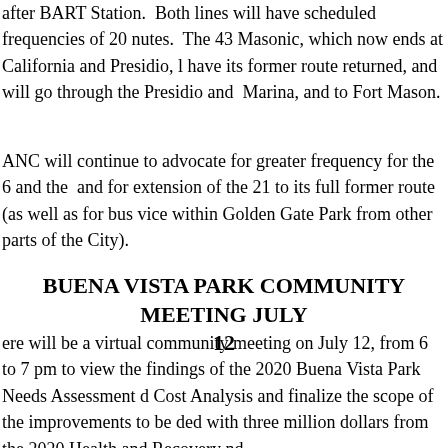after BART Station.  Both lines will have scheduled frequencies of 20 minutes.  The 43 Masonic, which now ends at California and Presidio, will have its former route returned, and will go through the Presidio and Marina, and to Fort Mason.
ANC will continue to advocate for greater frequency for the 6 and the and for extension of the 21 to its full former route (as well as for bus vice within Golden Gate Park from other parts of the City).
BUENA VISTA PARK COMMUNITY MEETING JULY 12
ere will be a virtual community meeting on July 12, from 6 to 7 pm to view the findings of the 2020 Buena Vista Park Needs Assessment d Cost Analysis and finalize the scope of the improvements to be ded with three million dollars from the 2020 Health and Recovery nd.
e Zoom link is available here:  https://sfrecpark.org/CivicAlerts.aspx?D=740 .
e 2020 Buena Vista Parks needs Assessment and Cost Analysis